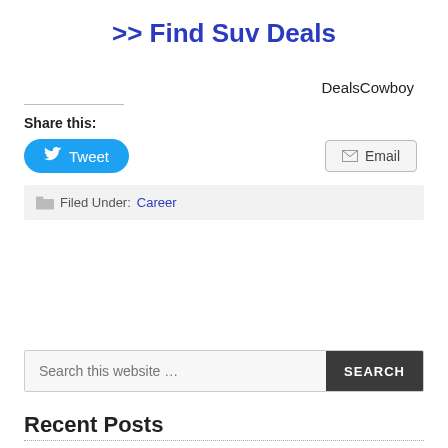>> Find Suv Deals
DealsCowboy
Share this:
Tweet  Email
Filed Under: Career
Search this website …
Recent Posts
www.metropcs.com/payment – MetroPCS Pay Bill Online
File a Claim at State Auto